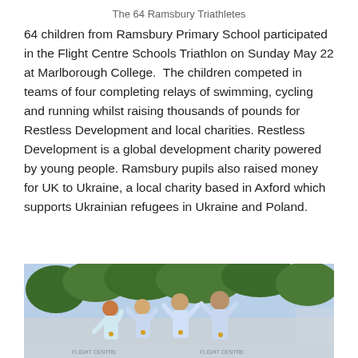The 64 Ramsbury Triathletes
64 children from Ramsbury Primary School participated in the Flight Centre Schools Triathlon on Sunday May 22 at Marlborough College.  The children competed in teams of four completing relays of swimming, cycling and running whilst raising thousands of pounds for Restless Development and local charities. Restless Development is a global development charity powered by young people. Ramsbury pupils also raised money for UK to Ukraine, a local charity based in Axford which supports Ukrainian refugees in Ukraine and Poland.
[Figure (photo): Group of children on a podium with arms raised in celebration, wearing white t-shirts and medals, outdoors with trees in the background at a triathlon event.]